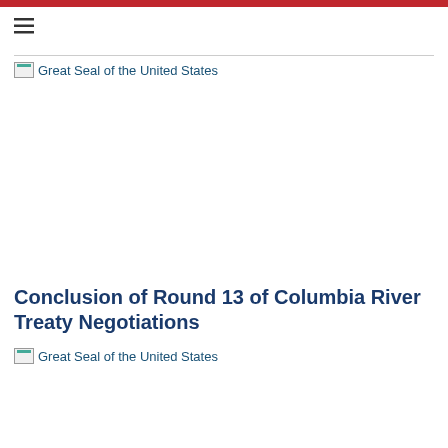[Figure (other): Red horizontal bar at top of page]
[Figure (other): Hamburger menu icon (three horizontal lines)]
[Figure (logo): Broken image placeholder labeled 'Great Seal of the United States']
Conclusion of Round 13 of Columbia River Treaty Negotiations
[Figure (logo): Broken image placeholder labeled 'Great Seal of the United States']